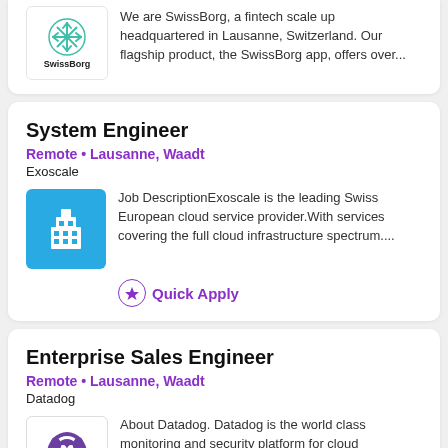[Figure (logo): SwissBorg logo with teal/green snowflake icon and 'SwissBorg' text below]
We are SwissBorg, a fintech scale up headquartered in Lausanne, Switzerland. Our flagship product, the SwissBorg app, offers over...
System Engineer
Remote • Lausanne, Waadt
Exoscale
[Figure (logo): Exoscale logo: blue square with white building/city icon]
Job DescriptionExoscale is the leading Swiss European cloud service provider.With services covering the full cloud infrastructure spectrum....
Quick Apply
Enterprise Sales Engineer
Remote • Lausanne, Waadt
Datadog
[Figure (logo): Datadog logo: purple/white dog illustration with DATADOG text]
About Datadog. Datadog is the world class monitoring and security platform for cloud applications. We're dedicated to creating...